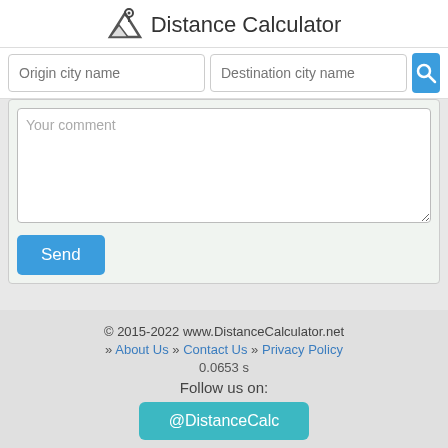Distance Calculator
[Figure (screenshot): Search bar with Origin city name and Destination city name input fields and a blue search button]
Your comment
Send
© 2015-2022 www.DistanceCalculator.net
» About Us » Contact Us » Privacy Policy
0.0653 s
Follow us on:
@DistanceCalc